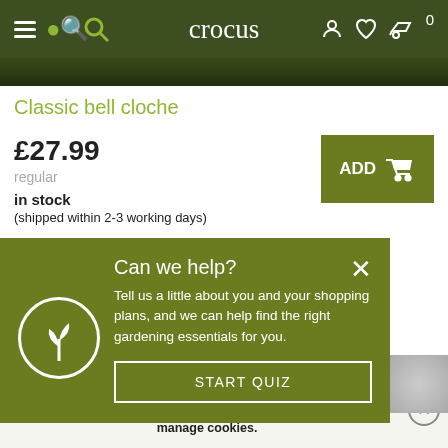crocus
Classic bell cloche
£27.99
regular
in stock
(shipped within 2-3 working days)
ADD
Can we help?
Tell us a little about you and your shopping plans, and we can help find the right gardening essentials for you.
START QUIZ
We use cookies to provide you with a better service and experience. Carry on browsing if you're happy with this, or find out how to manage cookies.